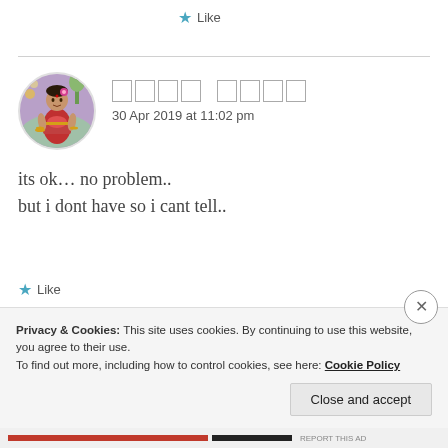★ Like
30 Apr 2019 at 11:02 pm
its ok... no problem..
but i dont have so i cant tell..
★ Like
Privacy & Cookies: This site uses cookies. By continuing to use this website, you agree to their use.
To find out more, including how to control cookies, see here: Cookie Policy
Close and accept